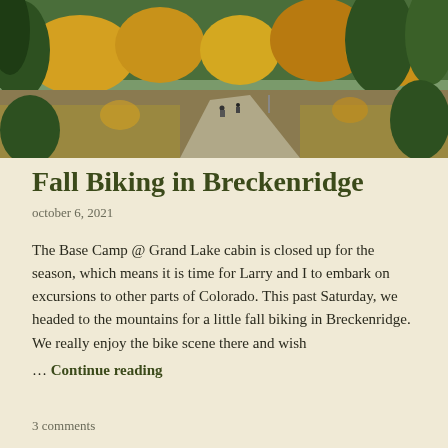[Figure (photo): Aerial view of a mountain road winding through a forest of green pine trees and yellow autumn aspen trees, with two cyclists visible on the road]
Fall Biking in Breckenridge
october 6, 2021
The Base Camp @ Grand Lake cabin is closed up for the season, which means it is time for Larry and I to embark on excursions to other parts of Colorado. This past Saturday, we headed to the mountains for a little fall biking in Breckenridge. We really enjoy the bike scene there and wish … Continue reading
3 comments